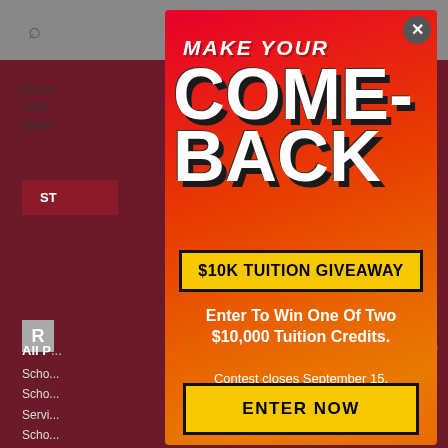[Figure (screenshot): Website background showing a dark red/maroon page with search icon, menu icon, partial text content and links]
[Figure (infographic): Popup modal with red-to-orange gradient background promoting a $10K Tuition Giveaway contest. Contains large bold text 'MAKE YOUR COME-BACK', yellow banner '$10K TUITION GIVEAWAY', body text 'Enter To Win One Of Two $10,000 Tuition Credits. Contest closes September 15.' and a yellow CTA button 'ENTER NOW']
MAKE YOUR COME-BACK
$10K TUITION GIVEAWAY
Enter To Win One Of Two $10,000 Tuition Credits.
Contest closes September 15.
ENTER NOW